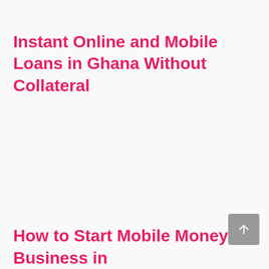Instant Online and Mobile Loans in Ghana Without Collateral
How to Start Mobile Money Business in